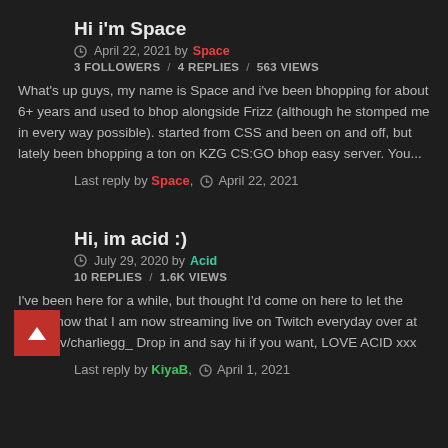Hi i'm Space
April 22, 2021 by Space
3 FOLLOWERS / 4 REPLIES / 563 VIEWS
What's up guys, my name is Space and i've been bhopping for about 6+ years and used to bhop alongside Frizz (although he stomped me in every way possible). started from CSS and been on and off, but lately been bhopping a ton on KZG CS:GO bhop easy server. You...
Last reply by Space, April 22, 2021
Hi, im acid :)
July 29, 2020 by Acid
10 REPLIES / 1.6K VIEWS
I've been here for a while, but thought I'd come on here to let the OGs know that I am now streaming live on Twitch everyday over at twitch.tv/charliegg_ Drop in and say hi if you want, LOVE ACID xxx
Last reply by KiyaB, April 1, 2021